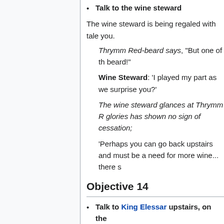Talk to the wine steward
The wine steward is being regaled with tales... you.
Thrymm Red-beard says, "But one of th... beard!"
Wine Steward: 'I played my part as we... surprise you?'
The wine steward glances at Thrymm R... glories has shown no sign of cessation;
'Perhaps you can go back upstairs and... must be a need for more wine... there s
Objective 14
Talk to King Elessar upstairs, on the
The wedding-feast continues into the night... festivities conclude.
Thrymm Red-beard says, "Let me start... March 11th..."